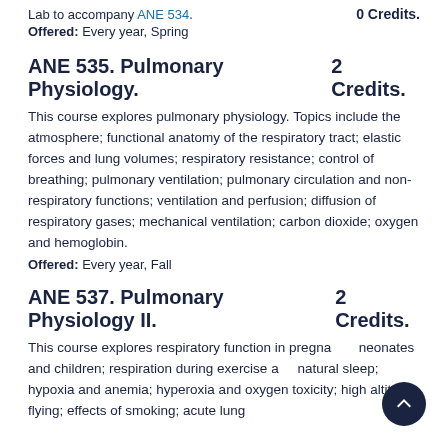Lab to accompany ANE 534.   0 Credits.
Offered: Every year, Spring
ANE 535. Pulmonary Physiology.   2 Credits.
This course explores pulmonary physiology. Topics include the atmosphere; functional anatomy of the respiratory tract; elastic forces and lung volumes; respiratory resistance; control of breathing; pulmonary ventilation; pulmonary circulation and non-respiratory functions; ventilation and perfusion; diffusion of respiratory gases; mechanical ventilation; carbon dioxide; oxygen and hemoglobin.
Offered: Every year, Fall
ANE 537. Pulmonary Physiology II.  2 Credits.
This course explores respiratory function in pregnancy, neonates and children; respiration during exercise and natural sleep; hypoxia and anemia; hyperoxia and oxygen toxicity; high altitude flying; effects of smoking; acute lung